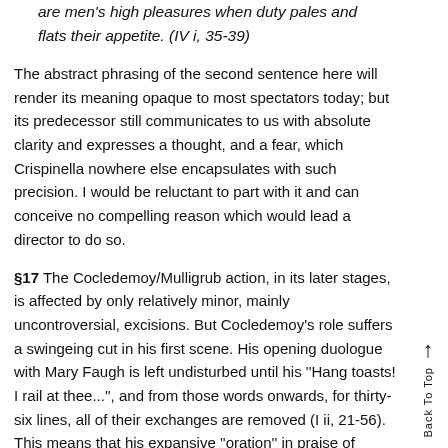are men's high pleasures when duty pales and flats their appetite. (IV i, 35-39)
The abstract phrasing of the second sentence here will render its meaning opaque to most spectators today; but its predecessor still communicates to us with absolute clarity and expresses a thought, and a fear, which Crispinella nowhere else encapsulates with such precision. I would be reluctant to part with it and can conceive no compelling reason which would lead a director to do so.
§17 The Cocledemoy/Mulligrub action, in its later stages, is affected by only relatively minor, mainly uncontroversial, excisions. But Cocledemoy's role suffers a swingeing cut in his first scene. His opening duologue with Mary Faugh is left undisturbed until his ''Hang toasts! I rail at thee...'', and from those words onwards, for thirty-six lines, all of their exchanges are removed (I ii, 21-56). This means that his expansive ''oration'' in praise of bawds has disappeared,